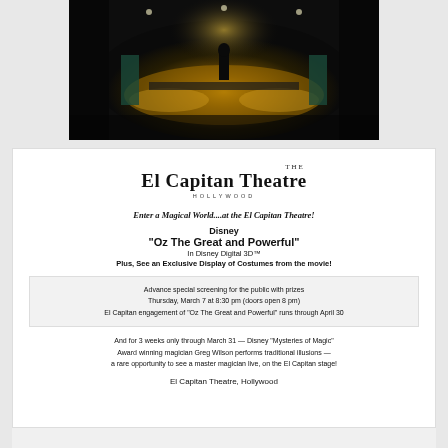[Figure (photo): Dark theatrical scene showing a stage with golden/amber lighting, a figure standing center stage surrounded by elaborate decorations and audience members, resembling a scene from Oz The Great and Powerful]
[Figure (logo): El Capitan Theatre Hollywood logo with stylized serif text]
Enter a Magical World....at the El Capitan Theatre!
Disney
"Oz The Great and Powerful"
In Disney Digital 3D™
Plus, See an Exclusive Display of Costumes from the movie!
Advance special screening for the public with prizes
Thursday, March 7 at 8:30 pm (doors open 8 pm)
El Capitan engagement of "Oz The Great and Powerful" runs through April 30
And for 3 weeks only through March 31 — Disney "Mysteries of Magic"
Award winning magician Greg Wilson performs traditional illusions —
a rare opportunity to see a master magician live, on the El Capitan stage!
El Capitan Theatre, Hollywood